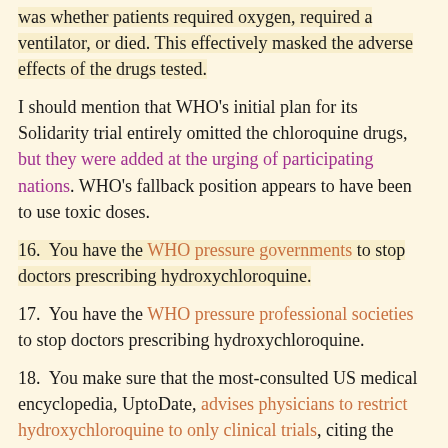was whether patients required oxygen, required a ventilator, or died. This effectively masked the adverse effects of the drugs tested.
I should mention that WHO's initial plan for its Solidarity trial entirely omitted the chloroquine drugs, but they were added at the urging of participating nations. WHO's fallback position appears to have been to use toxic doses.
16.  You have the WHO pressure governments to stop doctors prescribing hydroxychloroquine.
17.  You have the WHO pressure professional societies to stop doctors prescribing hydroxychloroquine.
18.  You make sure that the most-consulted US medical encyclopedia, UptoDate, advises physicians to restrict hydroxychloroquine to only clinical trials, citing the FDA,